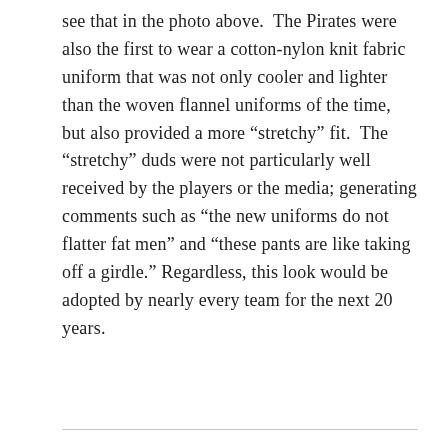see that in the photo above.  The Pirates were also the first to wear a cotton-nylon knit fabric uniform that was not only cooler and lighter than the woven flannel uniforms of the time, but also provided a more “stretchy” fit.  The “stretchy” duds were not particularly well received by the players or the media; generating comments such as “the new uniforms do not flatter fat men” and “these pants are like taking off a girdle.” Regardless, this look would be adopted by nearly every team for the next 20 years.